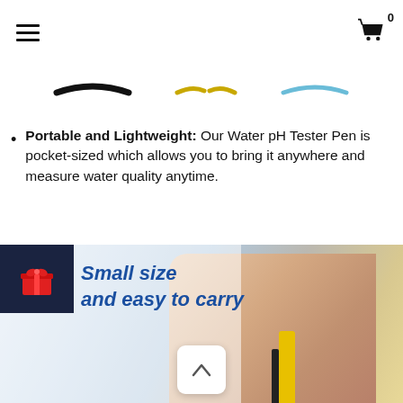[Hamburger menu] [Shopping cart icon] 0
[Figure (illustration): Three product color variants shown as partial arcs/shapes at top: black, yellow/gold, and light blue]
Portable and Lightweight: Our Water pH Tester Pen is pocket-sized which allows you to bring it anywhere and measure water quality anytime.
[Figure (photo): Person holding a yellow pH tester pen against white shirt, with promotional text overlaid: Small size and easy to carry. Dark navy gift badge icon in top left corner. Scroll-up button at bottom center.]